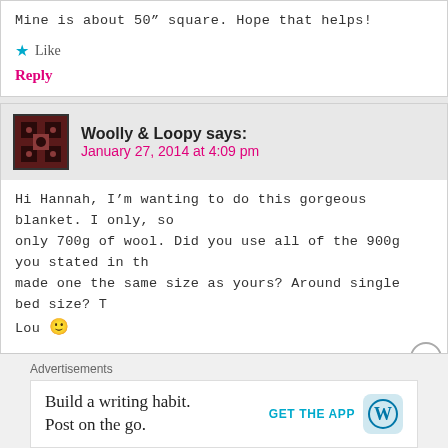Mine is about 50” square. Hope that helps!
★ Like
Reply
Woolly & Loopy says:
January 27, 2014 at 4:09 pm
Hi Hannah, I’m wanting to do this gorgeous blanket. I only, so only 700g of wool. Did you use all of the 900g you stated in th made one the same size as yours? Around single bed size? T Lou 🙂
★ Like
Reply
Advertisements
Build a writing habit.
Post on the go.
GET THE APP